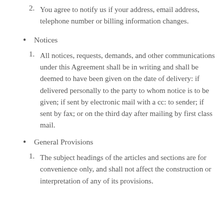2. You agree to notify us if your address, email address, telephone number or billing information changes.
• Notices
1. All notices, requests, demands, and other communications under this Agreement shall be in writing and shall be deemed to have been given on the date of delivery: if delivered personally to the party to whom notice is to be given; if sent by electronic mail with a cc: to sender; if sent by fax; or on the third day after mailing by first class mail.
• General Provisions
1. The subject headings of the articles and sections are for convenience only, and shall not affect the construction or interpretation of any of its provisions.